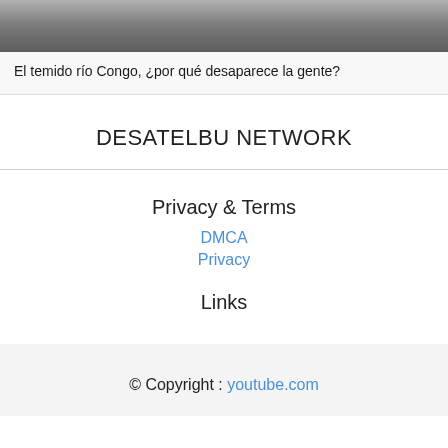[Figure (photo): Partial photo of a person, cropped at top showing head/face area, visible at top of page]
El temido río Congo, ¿por qué desaparece la gente?
DESATELBU NETWORK
Privacy & Terms
DMCA
Privacy
Links
© Copyright : youtube.com